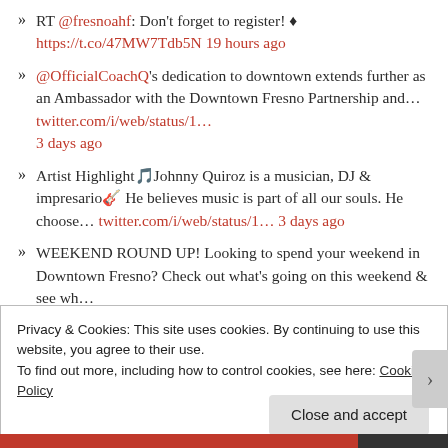RT @fresnoahf: Don't forget to register! 🔷 https://t.co/47MW7Tdb5N 19 hours ago
@OfficialCoachQ's dedication to downtown extends further as an Ambassador with the Downtown Fresno Partnership and… twitter.com/i/web/status/1… 3 days ago
Artist Highlight🎵Johnny Quiroz is a musician, DJ & impresario🎸 He believes music is part of all our souls. He choose… twitter.com/i/web/status/1… 3 days ago
WEEKEND ROUND UP! Looking to spend your weekend in Downtown Fresno? Check out what's going on this weekend & see wh…
Privacy & Cookies: This site uses cookies. By continuing to use this website, you agree to their use. To find out more, including how to control cookies, see here: Cookie Policy